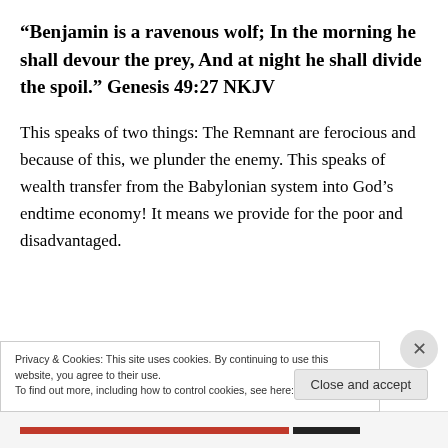“Benjamin is a ravenous wolf; In the morning he shall devour the prey, And at night he shall divide the spoil.” Genesis 49:27 NKJV
This speaks of two things: The Remnant are ferocious and because of this, we plunder the enemy. This speaks of wealth transfer from the Babylonian system into God’s endtime economy! It means we provide for the poor and disadvantaged.
Privacy & Cookies: This site uses cookies. By continuing to use this website, you agree to their use.
To find out more, including how to control cookies, see here: Cookie Policy
Close and accept